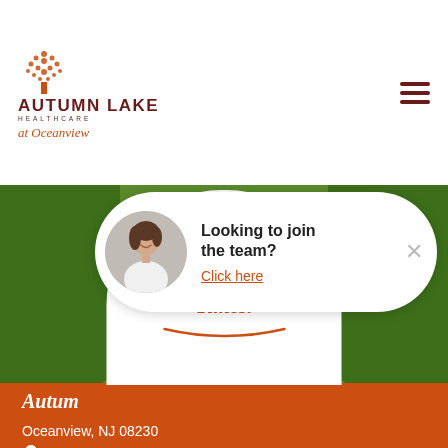[Figure (logo): Autumn Lake Healthcare at Oceanview logo with tree icon]
[Figure (photo): Outdoor photo of facility entrance sign surrounded by green trees, with orange band showing address and Get Directions]
Good Care. Good Times.
Autumn Lake
Oceanview, NJ 08230
Get Directions
Looking to join the team?
Click here